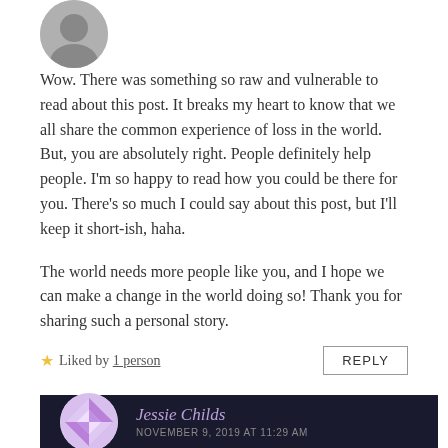[Figure (photo): Circular avatar photo of a person, partially visible at top left]
Wow. There was something so raw and vulnerable to read about this post. It breaks my heart to know that we all share the common experience of loss in the world. But, you are absolutely right. People definitely help people. I'm so happy to read how you could be there for you. There's so much I could say about this post, but I'll keep it short-ish, haha.
The world needs more people like you, and I hope we can make a change in the world doing so! Thank you for sharing such a personal story.
★ Liked by 1 person
REPLY
Jessie Childs
NOVEMBER 9, 2019 AT 11:29 AM